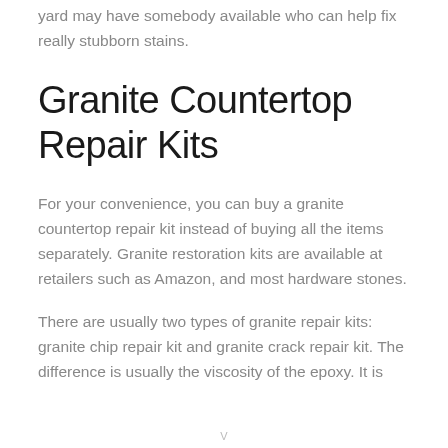yard may have somebody available who can help fix really stubborn stains.
Granite Countertop Repair Kits
For your convenience, you can buy a granite countertop repair kit instead of buying all the items separately. Granite restoration kits are available at retailers such as Amazon, and most hardware stones.
There are usually two types of granite repair kits: granite chip repair kit and granite crack repair kit. The difference is usually the viscosity of the epoxy. It is
V